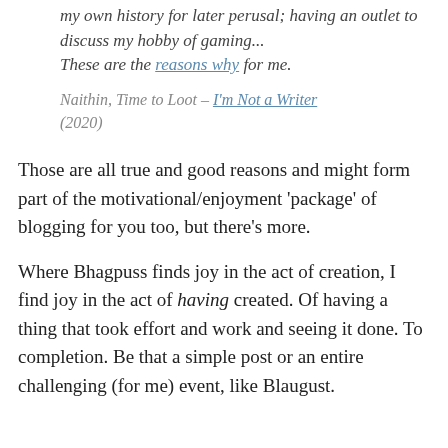my own history for later perusal; having an outlet to discuss my hobby of gaming... These are the reasons why for me.
Naithin, Time to Loot – I'm Not a Writer (2020)
Those are all true and good reasons and might form part of the motivational/enjoyment 'package' of blogging for you too, but there's more.
Where Bhagpuss finds joy in the act of creation, I find joy in the act of having created. Of having a thing that took effort and work and seeing it done. To completion. Be that a simple post or an entire challenging (for me) event, like Blaugust.